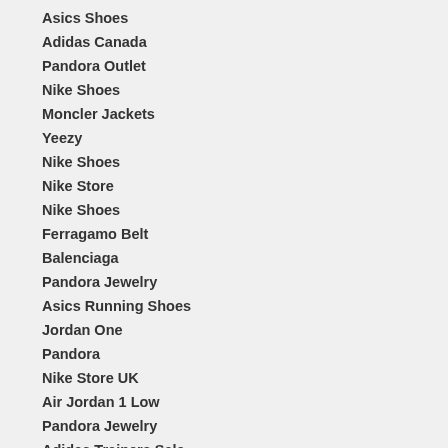Asics Shoes
Adidas Canada
Pandora Outlet
Nike Shoes
Moncler Jackets
Yeezy
Nike Shoes
Nike Store
Nike Shoes
Ferragamo Belt
Balenciaga
Pandora Jewelry
Asics Running Shoes
Jordan One
Pandora
Nike Store UK
Air Jordan 1 Low
Pandora Jewelry
Adidas Trainers Sale
Nike Sneakers
Pandora Ring
Pandora Charms
Adidas Shoes Womens